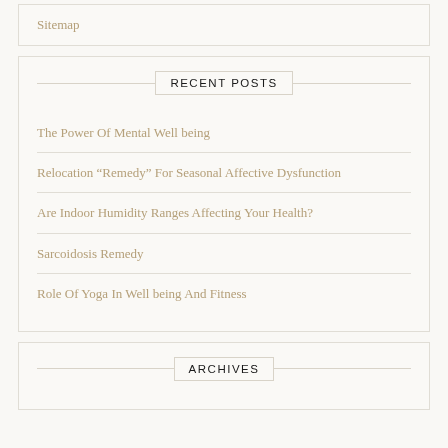Sitemap
RECENT POSTS
The Power Of Mental Well being
Relocation “Remedy” For Seasonal Affective Dysfunction
Are Indoor Humidity Ranges Affecting Your Health?
Sarcoidosis Remedy
Role Of Yoga In Well being And Fitness
ARCHIVES